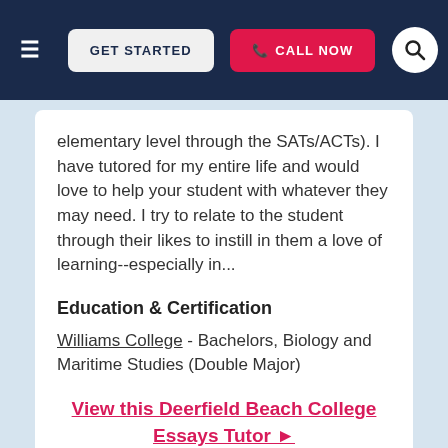GET STARTED   CALL NOW
elementary level through the SATs/ACTs). I have tutored for my entire life and would love to help your student with whatever they may need. I try to relate to the student through their likes to instill in them a love of learning--especially in...
Education & Certification
Williams College - Bachelors, Biology and Maritime Studies (Double Major)
View this Deerfield Beach College Essays Tutor ►